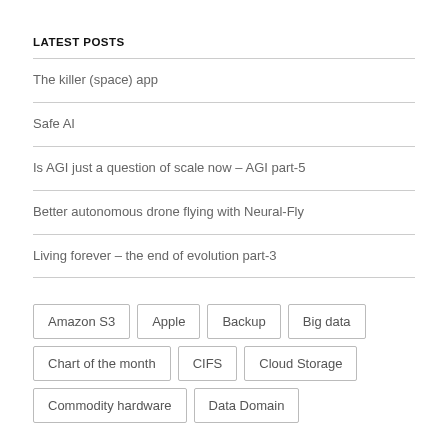LATEST POSTS
The killer (space) app
Safe AI
Is AGI just a question of scale now – AGI part-5
Better autonomous drone flying with Neural-Fly
Living forever – the end of evolution part-3
Amazon S3  Apple  Backup  Big data  Chart of the month  CIFS  Cloud Storage  Commodity hardware  Data Domain